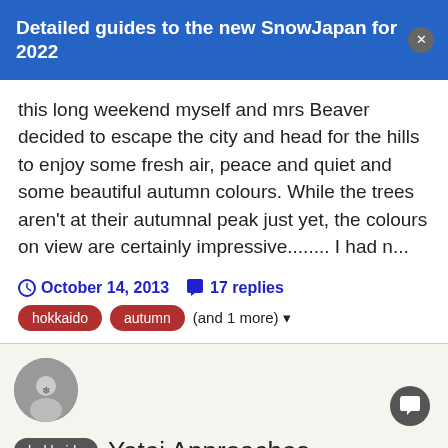Detailed guides to the new SnowJapan for 2022
this long weekend myself and mrs Beaver decided to escape the city and head for the hills to enjoy some fresh air, peace and quiet and some beautiful autumn colours. While the trees aren't at their autumnal peak just yet, the colours on view are certainly impressive........ I had n...
October 14, 2013   17 replies
hokkaido  autumn  (and 1 more)
[Figure (photo): Circular avatar photo showing a person in snowy/winter conditions]
hokkaido  Yotei Approaches
Method posted a topic in
Snow talk, trip reports, Japan avalanche & backcountry